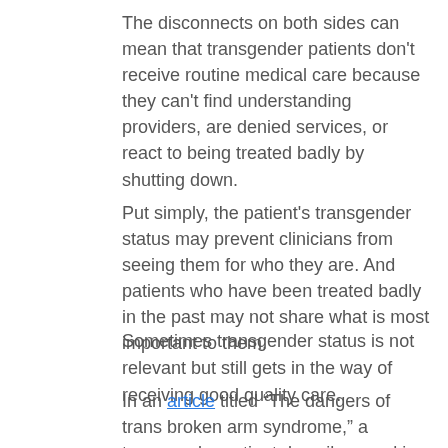The disconnects on both sides can mean that transgender patients don't receive routine medical care because they can't find understanding providers, are denied services, or react to being treated badly by shutting down.
Put simply, the patient's transgender status may prevent clinicians from seeing them for who they are. And patients who have been treated badly in the past may not share what is most important to them.
Sometimes transgender status is not relevant but still gets in the way of receiving good quality care.
In an article titled “The dangers of trans broken arm syndrome,” a transgender patient describes seeking emergency care for a broken arm. The physician on duty was so distracted by the patient’s transgender status, care for the broken arm was delayed. The